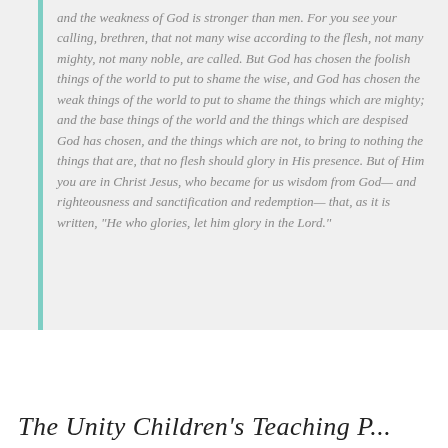and the weakness of God is stronger than men. For you see your calling, brethren, that not many wise according to the flesh, not many mighty, not many noble, are called. But God has chosen the foolish things of the world to put to shame the wise, and God has chosen the weak things of the world to put to shame the things which are mighty; and the base things of the world and the things which are despised God has chosen, and the things which are not, to bring to nothing the things that are, that no flesh should glory in His presence. But of Him you are in Christ Jesus, who became for us wisdom from God— and righteousness and sanctification and redemption— that, as it is written, "He who glories, let him glory in the Lord."
The Unity Children's Teaching Program